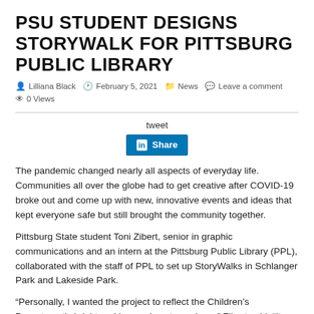PSU STUDENT DESIGNS STORYWALK FOR PITTSBURG PUBLIC LIBRARY
Lilliana Black  February 5, 2021  News  Leave a comment  0 Views
tweet
[Figure (other): LinkedIn Share button]
The pandemic changed nearly all aspects of everyday life. Communities all over the globe had to get creative after COVID-19 broke out and come up with new, innovative events and ideas that kept everyone safe but still brought the community together.
Pittsburg State student Toni Zibert, senior in graphic communications and an intern at the Pittsburg Public Library (PPL), collaborated with the staff of PPL to set up StoryWalks in Schlanger Park and Lakeside Park.
“Personally, I wanted the project to reflect the Children’s Department’s bright and immersive atmosphere,” Zibert said. “It was very important to me and everyone else that this be successful,